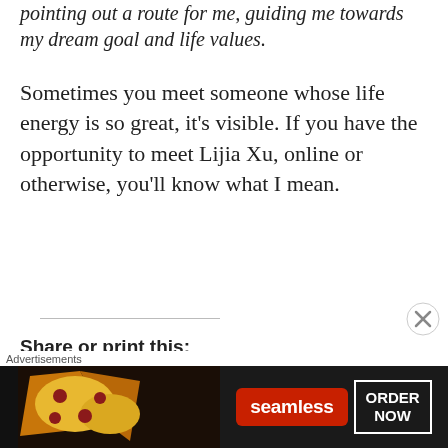pointing out a route for me, guiding me towards my dream goal and life values.
Sometimes you meet someone whose life energy is so great, it's visible. If you have the opportunity to meet Lijia Xu, online or otherwise, you'll know what I mean.
Share or print this:
[Figure (other): Advertisement banner for Seamless food delivery with pizza image, Seamless logo in red, and ORDER NOW button]